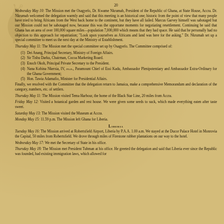20
Wednesday May 10: The Mission met the Osagyefo, Dr. Kwame Nkrumah, President of the Republic of Ghana, at State House, Accra. Dr. Nkrumah welcomed the delegation warmly and said that this meeting is an historical one; historic from the point of view that many people have tried to bring Africans from the West back home to the continent, but they have all failed. Marcus Garvey himself was sabotaged but our Mission could not be sabotaged now, because this was the opportune moments for negotiating resettlement. Continuing he said that Ghana has an area of over 100,000 square miles—population 7,000,000 which means that they had space. He said that he personally had no objection to this approach for repatriation; "Look upon yourselves as Africans and land was here for the asking." Dr. Nkrumah set up a special committee to meet us the next day at the Ministry of Establishment.
Thursday May 11: The Mission met the special committee set up by Osagyefo. The Committee comprised of:
(1) Dei Anang, Principal Secretary, Ministry of Foreign Affairs.
(2) Sir Tisbu Darku, Chairman, Cocoa Marketing Board.
(3) Enoch Okoh, Principal Private Secretary to the President.
(4) Nana Kobina Nkersia, IV, PH.D., Paramount Chief of Essi Kadu, Ambassador Plenipotentiary and Ambassador Extra-Ordinary for the Ghana Government;
(5) Hon. Tawia Adamafio, Minister for Presidential Affairs.
Finally, we resolved with the Committee that the delegation return to Jamaica, make a comprehensive Memorandum and declaration of the category, numbers, etc. of settlers.
Thursday May 11: The Mission visited Tema Harbour, the home of the Black Star Line, 20 miles from Accra.
Friday May 12: Visited a botanical garden and rest house. We were given some seeds to suck, which made everything eaten after taste sweet.
Saturday May 13: The Mission visited the Museum at Accra.
Monday May 15: 11.59 p.m. The Mission left Ghana for Liberia.
Liberia
Tuesday May 16: The Mission arrived at Robertsfield Airport, Liberia by P.A.A. 1.00 a.m. We stayed at the Ducor Palace Hotel in Monrovia the Capital, 50 miles from Robertsfield. We drove through miles of Firestone rubber plantations on our way to the hotel.
Wednesday May 17: We met the Secretary of State in his office.
Thursday May 18: The Mission met President Tubman at his office. He greeted the delegation and said that Liberia ever since the Republic was founded, had existing immigration laws, which allowed for